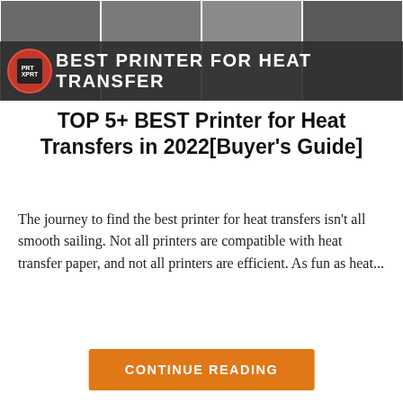[Figure (photo): Banner image showing multiple printers at the top with a dark overlay bar containing the text BEST PRINTER FOR HEAT TRANSFER and a logo on the left]
TOP 5+ BEST Printer for Heat Transfers in 2022[Buyer's Guide]
The journey to find the best printer for heat transfers isn't all smooth sailing. Not all printers are compatible with heat transfer paper, and not all printers are efficient. As fun as heat...
CONTINUE READING
ABOUT US